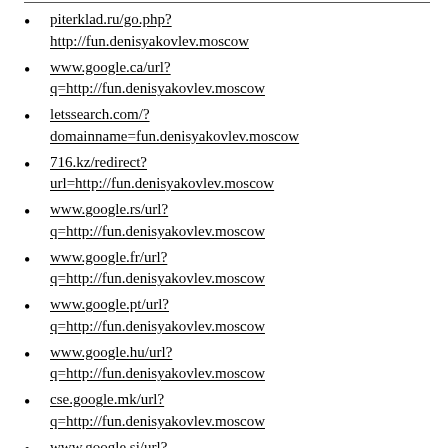piterklad.ru/go.php?http://fun.denisyakovlev.moscow
www.google.ca/url?q=http://fun.denisyakovlev.moscow
letssearch.com/?domainname=fun.denisyakovlev.moscow
716.kz/redirect?url=http://fun.denisyakovlev.moscow
www.google.rs/url?q=http://fun.denisyakovlev.moscow
www.google.fr/url?q=http://fun.denisyakovlev.moscow
www.google.pt/url?q=http://fun.denisyakovlev.moscow
www.google.hu/url?q=http://fun.denisyakovlev.moscow
cse.google.mk/url?q=http://fun.denisyakovlev.moscow
www.google.si/url?